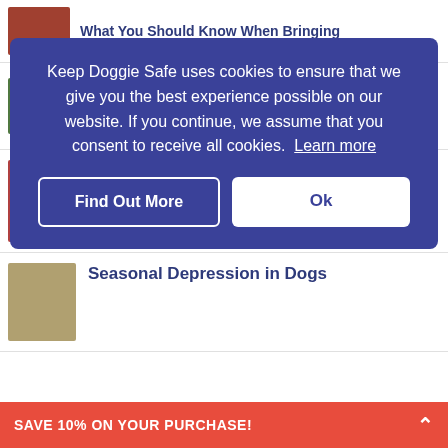What You Should Know When Bringing
[Figure (screenshot): Cookie consent overlay on Keep Doggie Safe website with dark blue background, cookie notice text, and two buttons: Find Out More and Ok]
Keep Doggie Safe uses cookies to ensure that we give you the best experience possible on our website. If you continue, we assume that you consent to receive all cookies. Learn more
Find Out More
Ok
Can My Dog Eat Pumpkin?
Seasonal Depression in Dogs
SAVE 10% ON YOUR PURCHASE!